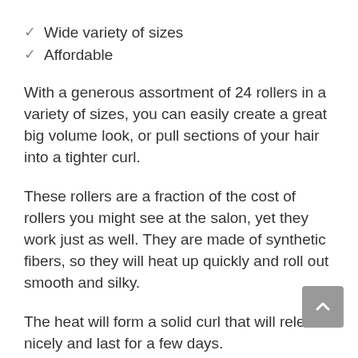✓ Wide variety of sizes
✓ Affordable
With a generous assortment of 24 rollers in a variety of sizes, you can easily create a great big volume look, or pull sections of your hair into a tighter curl.
These rollers are a fraction of the cost of rollers you might see at the salon, yet they work just as well. They are made of synthetic fibers, so they will heat up quickly and roll out smooth and silky.
The heat will form a solid curl that will release nicely and last for a few days. They're perfect for the contemporary woman